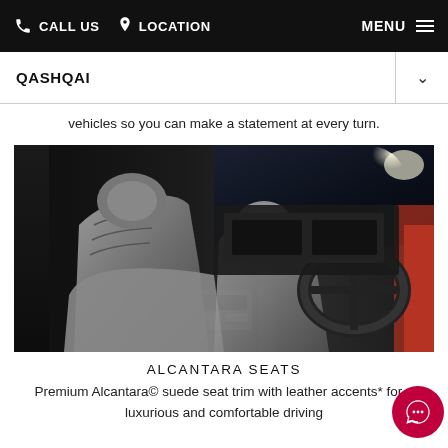CALL US   LOCATION   MENU
QASHQAI
vehicles so you can make a statement at every turn.
[Figure (photo): Car interior showing grey Alcantara seats from driver's side with door open, dark dashboard and steering wheel visible]
ALCANTARA SEATS
Premium Alcantara© suede seat trim with leather accents* for a luxurious and comfortable driving